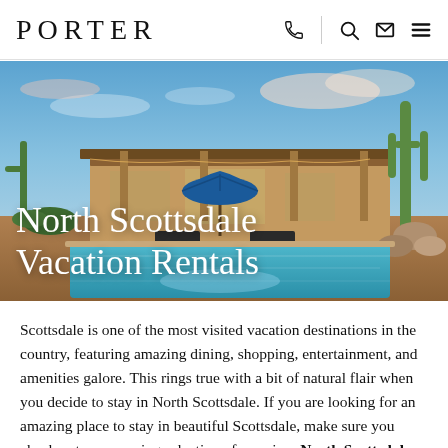PORTER
[Figure (photo): Aerial/exterior view of a luxury North Scottsdale vacation rental with a pool, desert landscaping, saguaro cacti, and a blue umbrella on the patio, under a vivid blue sky with clouds. Overlaid text reads 'North Scottsdale Vacation Rentals'.]
North Scottsdale Vacation Rentals
Scottsdale is one of the most visited vacation destinations in the country, featuring amazing dining, shopping, entertainment, and amenities galore. This rings true with a bit of natural flair when you decide to stay in North Scottsdale. If you are looking for an amazing place to stay in beautiful Scottsdale, make sure you check out our amazing selection of premium North Scottsdale Rentals.